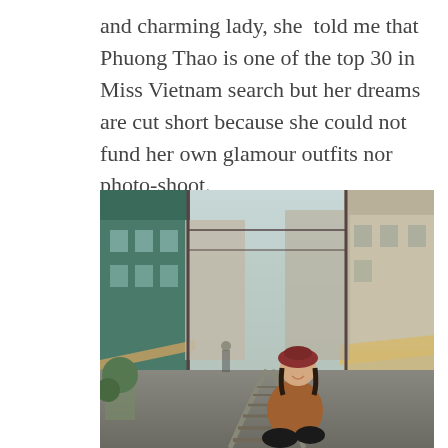and charming lady, she told me that Phuong Thao is one of the top 30 in Miss Vietnam search but her dreams are cut short because she could not fund her own glamour outfits nor photo-shoot.
[Figure (photo): A young Vietnamese woman wearing a brown coat and dark red beret, sitting on railway tracks in a narrow urban alley in Hanoi, Vietnam, with buildings on both sides and the tracks curving away into the distance.]